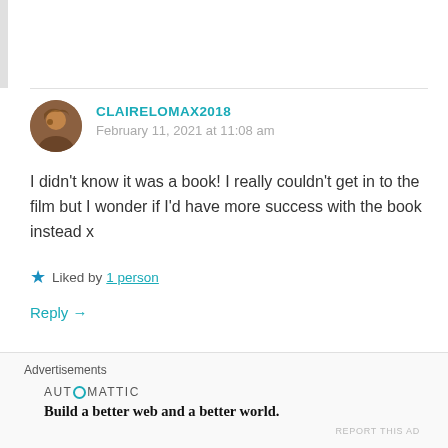CLAIRELOMAX2018
February 11, 2021 at 11:08 am
I didn't know it was a book! I really couldn't get in to the film but I wonder if I'd have more success with the book instead x
★ Liked by 1 person
Reply →
Advertisements
[Figure (logo): Automattic logo with circular O and tagline: Build a better web and a better world.]
REPORT THIS AD